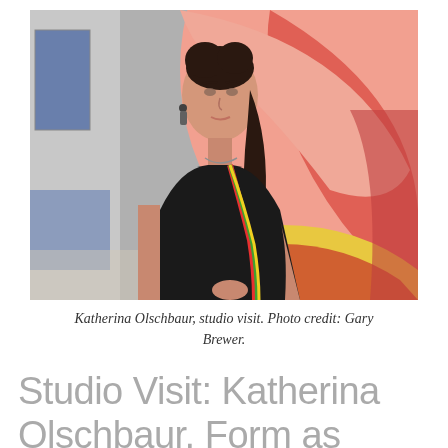[Figure (photo): Portrait photo of Katherina Olschbaur standing in her studio in front of large curved sculptural forms painted in coral/salmon pink, red, and yellow tones. She has dark hair, wears a black tank top with a colorful striped strap/ribbon, and a necklace. Studio setting with grey walls visible in the background.]
Katherina Olschbaur, studio visit. Photo credit: Gary Brewer.
Studio Visit: Katherina Olschbaur, Form as